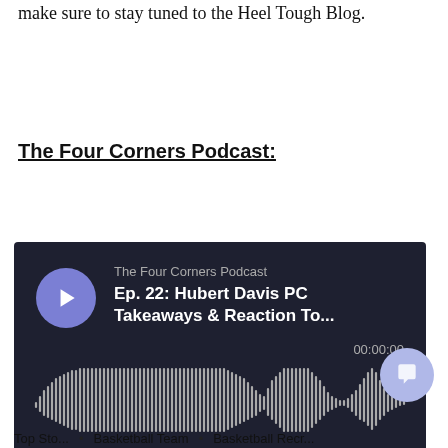make sure to stay tuned to the Heel Tough Blog.
The Four Corners Podcast:
[Figure (screenshot): Embedded podcast player widget with dark background showing 'The Four Corners Podcast, Ep. 22: Hubert Davis PC Takeaways & Reaction To...' with play button, waveform, timestamp 00:00:00, and bottom links: SHARE, SUBSCRIBE, COOKIE POLICY, DESCRIPTION. Back to top button visible bottom-right.]
[Figure (other): Chat/message bubble icon button (light purple circle) in bottom right corner.]
Top Sto... • Basketball Team • Basketball Recr...